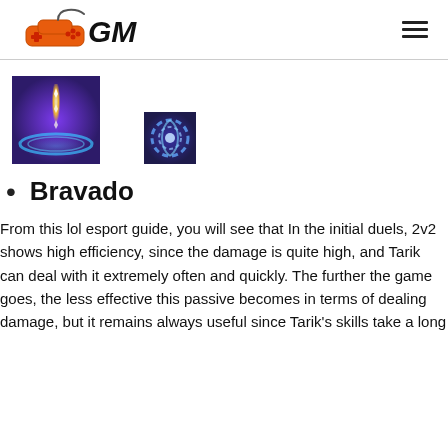GM (gaming website logo with hamburger menu)
[Figure (photo): Large game ability icon showing a glowing golden beam with blue energy waves on a purple background]
[Figure (photo): Small game ability icon showing a blue swirling energy effect]
Bravado
From this lol esport guide, you will see that In the initial duels, 2v2 shows high efficiency, since the damage is quite high, and Tarik can deal with it extremely often and quickly. The further the game goes, the less effective this passive becomes in terms of dealing damage, but it remains always useful since Tarik's skills take a long